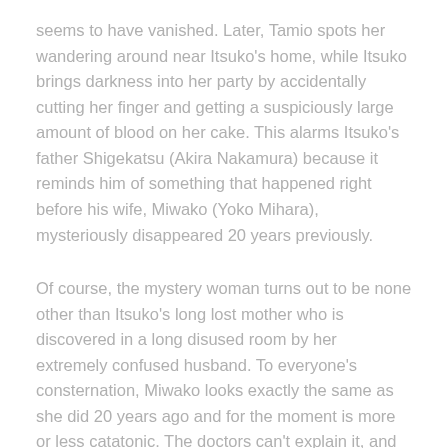seems to have vanished. Later, Tamio spots her wandering around near Itsuko's home, while Itsuko brings darkness into her party by accidentally cutting her finger and getting a suspiciously large amount of blood on her cake. This alarms Itsuko's father Shigekatsu (Akira Nakamura) because it reminds him of something that happened right before his wife, Miwako (Yoko Mihara), mysteriously disappeared 20 years previously.
Of course, the mystery woman turns out to be none other than Itsuko's long lost mother who is discovered in a long disused room by her extremely confused husband. To everyone's consternation, Miwako looks exactly the same as she did 20 years ago and for the moment is more or less catatonic. The doctors can't explain it, and no one is quite sure what to do about this miraculous development. Itsuko stops to make sure Tamio isn't going to put any of this in his paper, fearful that people will think of her mother's condition shamefully as a disease or a deformity. Paying a visit to a local art gallery, the pair are shocked to discover that the prizewinning work